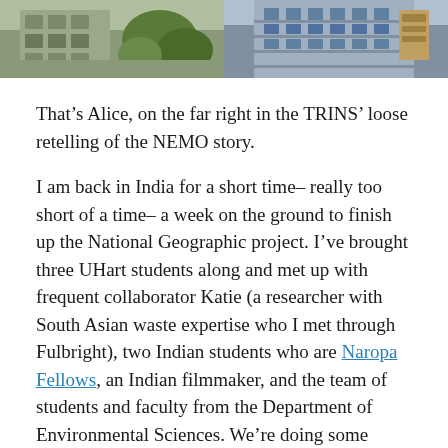[Figure (photo): Two photos side by side showing building facades. Left photo shows a building with greenery/trees. Right photo shows a tall building with balconies and a sign.]
That’s Alice, on the far right in the TRINS’ loose retelling of the NEMO story.
I am back in India for a short time– really too short of a time– a week on the ground to finish up the National Geographic project. I’ve brought three UHart students along and met up with frequent collaborator Katie (a researcher with South Asian waste expertise who I met through Fulbright), two Indian students who are Naropa Fellows, an Indian filmmaker, and the team of students and faculty from the Department of Environmental Sciences. We’re doing some tourism, learning about the problems of waste and debris here, and creating a video